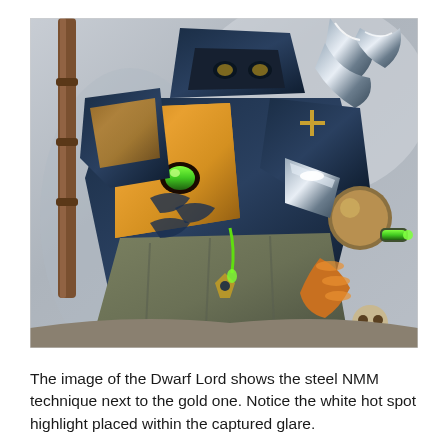[Figure (photo): Close-up photograph of a painted Warhammer miniature figure of a Dwarf Lord with ornate armor featuring dark blue, gold, orange, and green colors. The miniature displays steel NMM (Non-Metallic Metal) technique alongside gold NMM technique. The figure has elaborate mechanical and fantasy elements including claws, a spiked weapon, and glowing green gems.]
The image of the Dwarf Lord shows the steel NMM technique next to the gold one. Notice the white hot spot highlight placed within the captured glare.